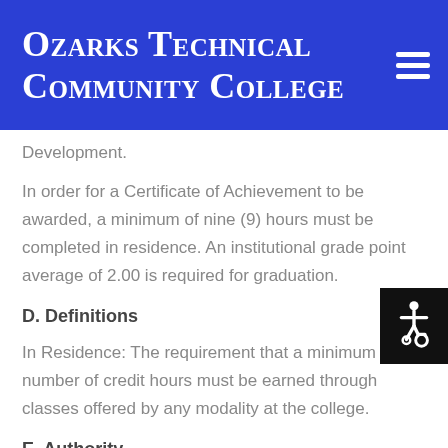Ozarks Technical Community College
Development.
In order for a Certificate of Achievement to be awarded, a minimum of nine (9) hours must be completed in residence. An institutional grade point average of 2.00 is required for graduation.
D. Definitions
In Residence: The requirement that a minimum number of credit hours must be earned through classes offered by any modality at the college.
E. Authority
This policy is maintained under the authority of the Vice Chancellor for Academic Affairs.